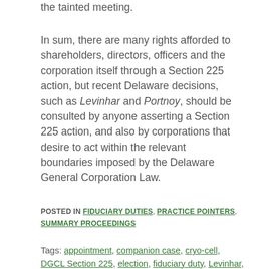the tainted meeting.
In sum, there are many rights afforded to shareholders, directors, officers and the corporation itself through a Section 225 action, but recent Delaware decisions, such as Levinhar and Portnoy, should be consulted by anyone asserting a Section 225 action, and also by corporations that desire to act within the relevant boundaries imposed by the Delaware General Corporation Law.
POSTED IN FIDUCIARY DUTIES, PRACTICE POINTERS, SUMMARY PROCEEDINGS
Tags: appointment, companion case, cryo-cell, DGCL Section 225, election, fiduciary duty, Levinhar, MDC Medical, portnoy, related claim, removal, rec...